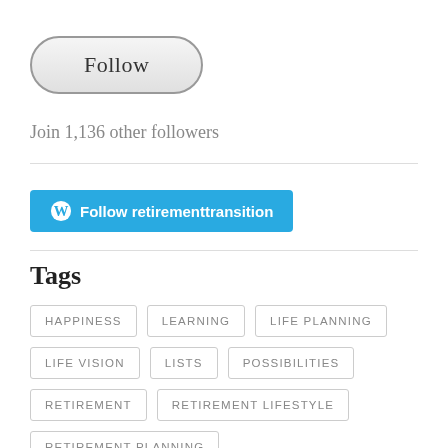[Figure (other): Follow button — rounded pill-shaped button with gradient background and border, labeled 'Follow']
Join 1,136 other followers
[Figure (other): WordPress Follow button — cyan/blue rounded rectangle button with WordPress logo icon and text 'Follow retirementtransition']
Tags
HAPPINESS
LEARNING
LIFE PLANNING
LIFE VISION
LISTS
POSSIBILITIES
RETIREMENT
RETIREMENT LIFESTYLE
RETIREMENT PLANNING